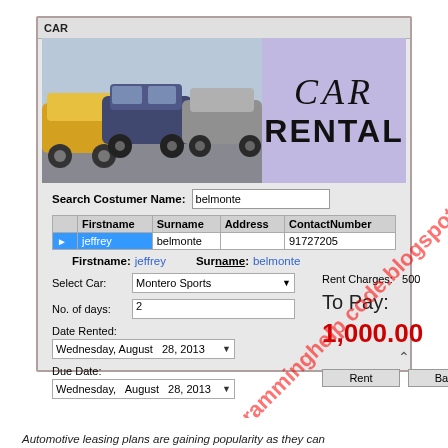[Figure (screenshot): Car rental application window showing a form with customer search, grid table with jeffrey belmonte selected, car selection (Montero Sports), number of days (2), date rented and due date (Wednesday August 28 2013), rent charges 500, To Pay 1,000.00 in red, Rent and Back buttons.]
Automotive leasing plans are gaining popularity as they can